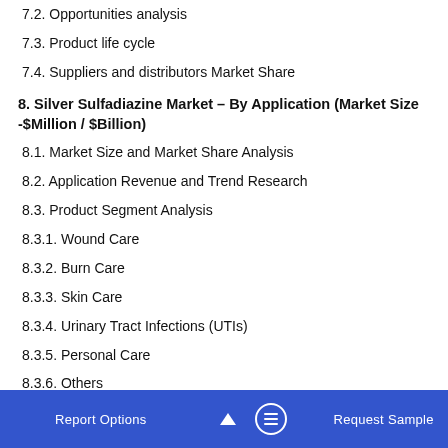7.2. Opportunities analysis
7.3. Product life cycle
7.4. Suppliers and distributors Market Share
8. Silver Sulfadiazine Market – By Application (Market Size -$Million / $Billion)
8.1. Market Size and Market Share Analysis
8.2. Application Revenue and Trend Research
8.3. Product Segment Analysis
8.3.1. Wound Care
8.3.2. Burn Care
8.3.3. Skin Care
8.3.4. Urinary Tract Infections (UTIs)
8.3.5. Personal Care
8.3.6. Others
9. Silver Sulfadiazine - By Geography (Market Size -$Million / $Billion)
Report Options   Request Sample